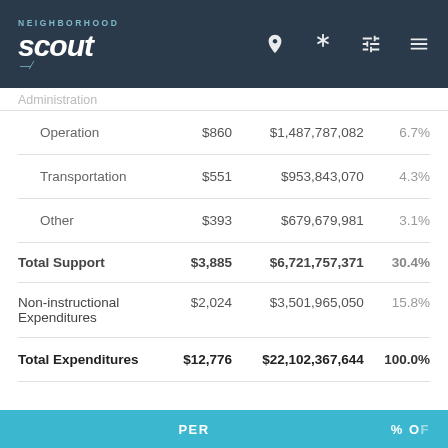NeighborhoodScout
Administration
|  | PER | $ | % OF |
| --- | --- | --- | --- |
| Operation | $860 | $1,487,787,082 | 6.7% |
| Transportation | $551 | $953,843,070 | 4.3% |
| Other | $393 | $679,679,981 | 3.1% |
| Total Support | $3,885 | $6,721,757,371 | 30.4% |
| Non-instructional Expenditures | $2,024 | $3,501,965,050 | 15.8% |
| Total Expenditures | $12,776 | $22,102,367,644 | 100.0% |
PER   % OF